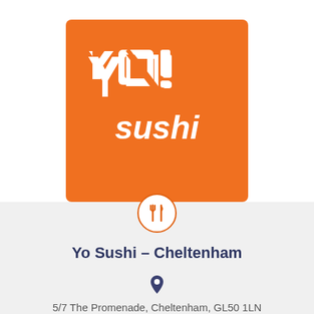[Figure (logo): YO! Sushi logo on orange background with white stylized text 'yo!' and 'sushi' below]
Yo Sushi – Cheltenham
5/7 The Promenade, Cheltenham, GL50 1LN